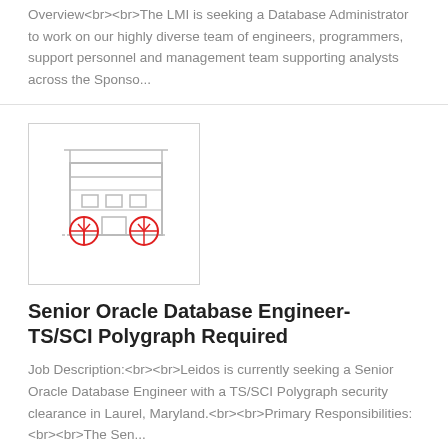Overview<br><br>The LMI is seeking a Database Administrator to work on our highly diverse team of engineers, programmers, support personnel and management team supporting analysts across the Sponso...
[Figure (illustration): Building/office illustration with red tree/location pin icons in front]
Senior Oracle Database Engineer- TS/SCI Polygraph Required
Job Description:<br><br>Leidos is currently seeking a Senior Oracle Database Engineer with a TS/SCI Polygraph security clearance in Laurel, Maryland.<br><br>Primary Responsibilities:<br><br>The Sen...
[Figure (illustration): Partial illustration visible at bottom of page — red icon with arrow/folder shape]